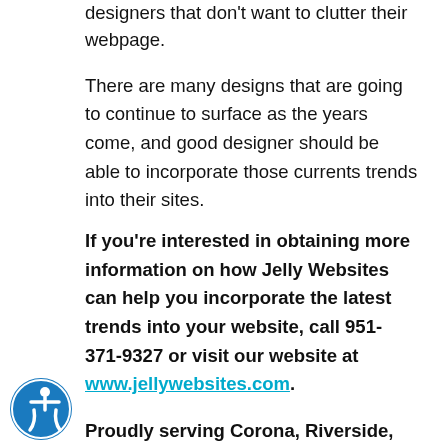designers that don't want to clutter their webpage.
There are many designs that are going to continue to surface as the years come, and good designer should be able to incorporate those currents trends into their sites.
If you're interested in obtaining more information on how Jelly Websites can help you incorporate the latest trends into your website, call 951-371-9327 or visit our website at www.jellywebsites.com.
Proudly serving Corona, Riverside, Chino, Ontario, Anaheim, Irvine, Tustin, Yorba Linda, Fullerton and all surrounding areas.